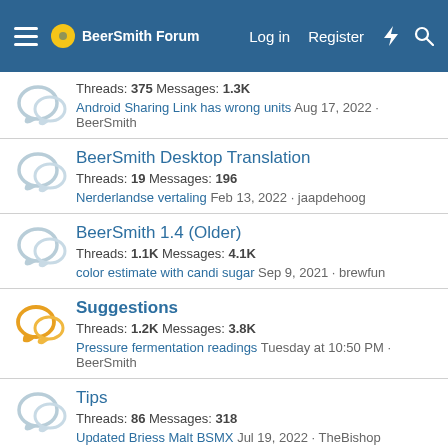BeerSmith Forum — Log in  Register
Threads: 375 Messages: 1.3K
Android Sharing Link has wrong units Aug 17, 2022 · BeerSmith
BeerSmith Desktop Translation
Threads: 19 Messages: 196
Nerderlandse vertaling Feb 13, 2022 · jaapdehoog
BeerSmith 1.4 (Older)
Threads: 1.1K Messages: 4.1K
color estimate with candi sugar Sep 9, 2021 · brewfun
Suggestions
Threads: 1.2K Messages: 3.8K
Pressure fermentation readings Tuesday at 10:50 PM · BeerSmith
Tips
Threads: 86 Messages: 318
Updated Briess Malt BSMX Jul 19, 2022 · TheBishop